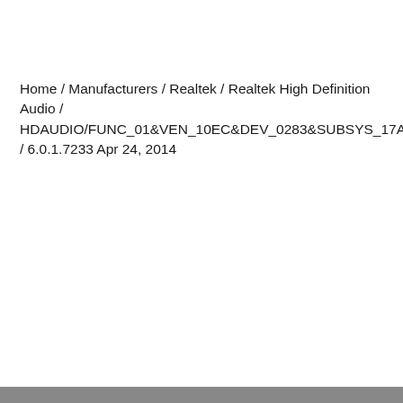Home / Manufacturers / Realtek / Realtek High Definition Audio / HDAUDIO/FUNC_01&VEN_10EC&DEV_0283&SUBSYS_17AA501A / 6.0.1.7233 Apr 24, 2014